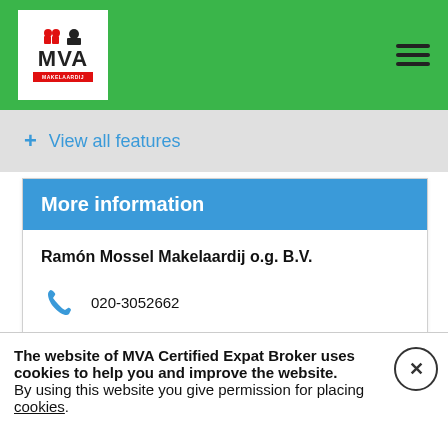MVA Makelaardij logo and navigation menu
+ View all features
More information
Ramón Mossel Makelaardij o.g. B.V.
020-3052662
info@ramonmossel.nl
www.ramonmossel.nl
The website of MVA Certified Expat Broker uses cookies to help you and improve the website. By using this website you give permission for placing cookies.